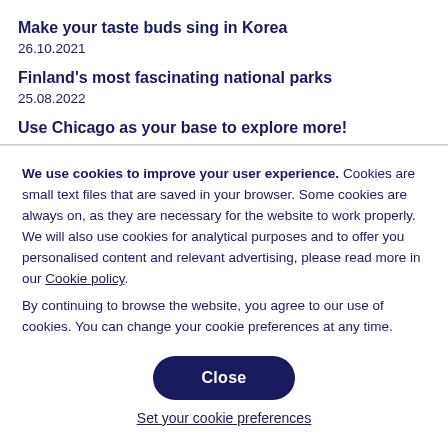Make your taste buds sing in Korea
26.10.2021
Finland's most fascinating national parks
25.08.2022
Use Chicago as your base to explore more!
We use cookies to improve your user experience. Cookies are small text files that are saved in your browser. Some cookies are always on, as they are necessary for the website to work properly. We will also use cookies for analytical purposes and to offer you personalised content and relevant advertising, please read more in our Cookie policy.
By continuing to browse the website, you agree to our use of cookies. You can change your cookie preferences at any time.
Close
Set your cookie preferences